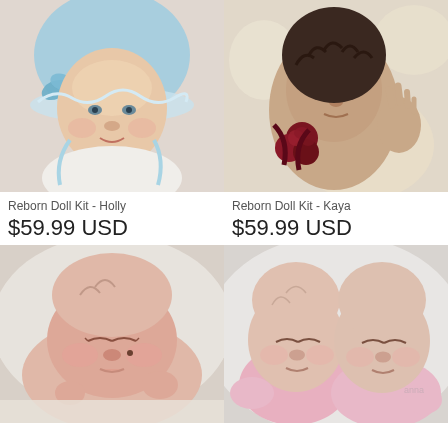[Figure (photo): Reborn doll wearing a blue bonnet and white lace outfit, photo taken on white fabric background]
[Figure (photo): Reborn doll with dark curly hair wearing a floral outfit with dark red roses, lying on beige fluffy fabric]
Reborn Doll Kit - Holly
$59.99 USD
Reborn Doll Kit - Kaya
$59.99 USD
[Figure (photo): Sleeping newborn reborn doll with pink skin, lying on white fluffy blanket]
[Figure (photo): Two sleeping reborn dolls in pink outfits, cuddling together on white fabric]